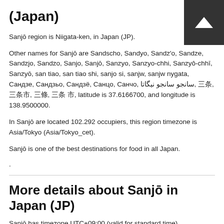(Japan)
Sanjō region is Niigata-ken, in Japan (JP).
Other names for Sanjō are Sandscho, Sandyo, Sandz'o, Sandze, Sandzjo, Sandzo, Sanjo, Sanjō, Sanzyo, Sanzyo-chhi, Sanzyô-chhī, Sanzyō, san tiao, san tiao shi, sanjo si, sanjw, sanjw nygata, Сандзе, Сандзьо, Сандзё, Санцо, Санчо, سانجو سانجو نيگاتا, 三条, 三条市, 三條, 三条 市, latitude is 37.6166700, and longitude is 138.9500000.
In Sanjō are located 102.292 occupiers, this region timezone is Asia/Tokyo (Asia/Tokyo_cet).
Sanjō is one of the best destinations for food in all Japan.
.
More details about Sanjō in Japan (JP)
Sanjō has timezone UTC+09:00 (valid for standard time).